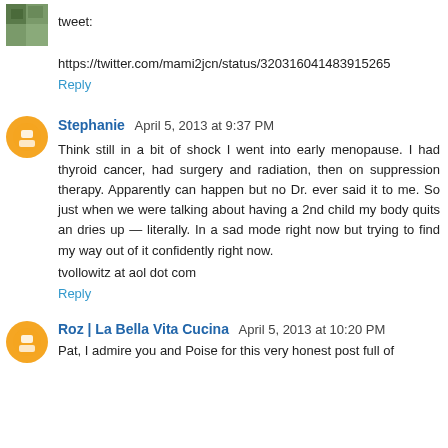tweet:
https://twitter.com/mami2jcn/status/320316041483915265
Reply
Stephanie  April 5, 2013 at 9:37 PM
Think still in a bit of shock I went into early menopause. I had thyroid cancer, had surgery and radiation, then on suppression therapy. Apparently can happen but no Dr. ever said it to me. So just when we were talking about having a 2nd child my body quits an dries up — literally. In a sad mode right now but trying to find my way out of it confidently right now.
tvollowitz at aol dot com
Reply
Roz | La Bella Vita Cucina  April 5, 2013 at 10:20 PM
Pat, I admire you and Poise for this very honest post full of